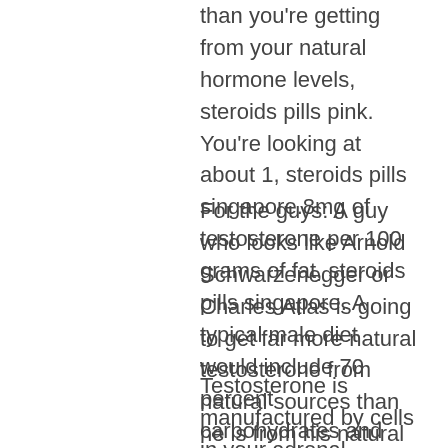than you're getting from your natural hormone levels, steroids pills pink. You're looking at about 1, steroids pills singapore.8mg of testosterone per 100 grams of fat, steroids pills singapore. A typical male diet would include 70 percent carbohydrates and about 30 percent fat.
For the guys: A guy who looks like Arnold Schwarzenegger or Charles Atlas is going to get far more natural testosterone from natural sources than he is from his natural hormone levels, steroids pills for weight gain.
Testosterone is manufactured by cells in your adrenal glands. Cortisol is made by the pituitary gland in your brain and stored there. Cortisol is released into your bloodstream by your adrenal glands and stimulates the production of testosterone, another steroid